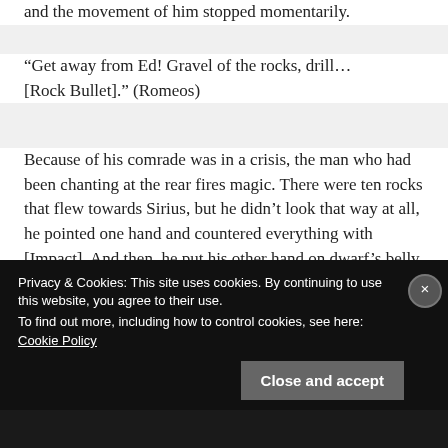and the movement of him stopped momentarily.
“Get away from Ed! Gravel of the rocks, drill… [Rock Bullet].” (Romeos)
Because of his comrade was in a crisis, the man who had been chanting at the rear fires magic. There were ten rocks that flew towards Sirius, but he didn’t look that way at all, he pointed one hand and countered everything with [Impact]. And then, he put his other hand on dwarf’s belly at the same time and charged his mana.
Privacy & Cookies: This site uses cookies. By continuing to use this website, you agree to their use.
To find out more, including how to control cookies, see here: Cookie Policy
Close and accept